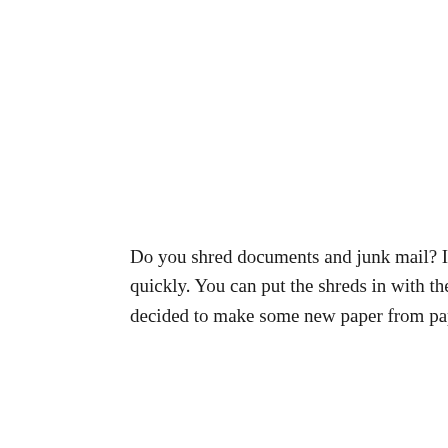Do you shred documents and junk mail? If so, that quickly. You can put the shreds in with the recycled decided to make some new paper from paper mad